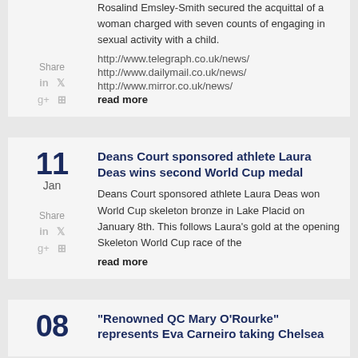Rosalind Emsley-Smith secured the acquittal of a woman charged with seven counts of engaging in sexual activity with a child.
http://www.telegraph.co.uk/news/
http://www.dailymail.co.uk/news/
http://www.mirror.co.uk/news/
read more
Share
Deans Court sponsored athlete Laura Deas wins second World Cup medal
Deans Court sponsored athlete Laura Deas won World Cup skeleton bronze in Lake Placid on January 8th. This follows Laura's gold at the opening Skeleton World Cup race of the
read more
Share
"Renowned QC Mary O'Rourke" represents Eva Carneiro taking Chelsea
08